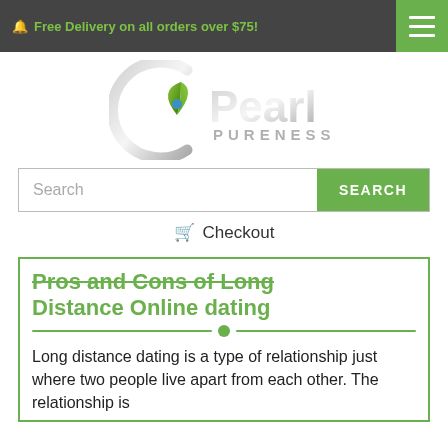🔔 Free Delivery on all orders over $75!
[Figure (logo): Pearl Pureness logo with a green leaf and silver circular design, with the text 'Pearl PURENESS' in silver]
Search
SEARCH
🛒 Checkout
Pros and Cons of Long Distance Online dating
Long distance dating is a type of relationship just where two people live apart from each other. The relationship is